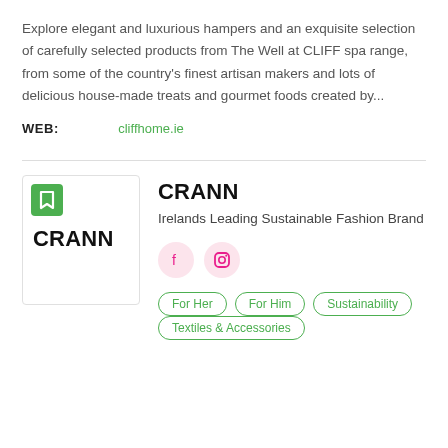Explore elegant and luxurious hampers and an exquisite selection of carefully selected products from The Well at CLIFF spa range, from some of the country's finest artisan makers and lots of delicious house-made treats and gourmet foods created by...
WEB: cliffhome.ie
[Figure (logo): CRANN logo box with green bookmark icon and CRANN text in bold black]
CRANN
Irelands Leading Sustainable Fashion Brand
[Figure (infographic): Social media icons: Facebook and Instagram, pink circle buttons]
For Her
For Him
Sustainability
Textiles & Accessories